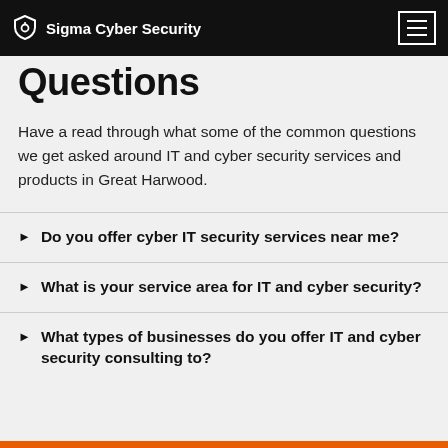Sigma Cyber Security
Questions
Have a read through what some of the common questions we get asked around IT and cyber security services and products in Great Harwood.
Do you offer cyber IT security services near me?
What is your service area for IT and cyber security?
What types of businesses do you offer IT and cyber security consulting to?